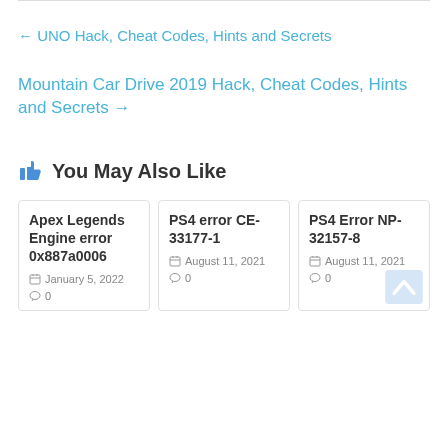← UNO Hack, Cheat Codes, Hints and Secrets
Mountain Car Drive 2019 Hack, Cheat Codes, Hints and Secrets →
👍 You May Also Like
Apex Legends Engine error 0x887a0006 | January 5, 2022 | 0 comments
PS4 error CE-33177-1 | August 11, 2021 | 0 comments
PS4 Error NP-32157-8 | August 11, 2021 | 0 comments